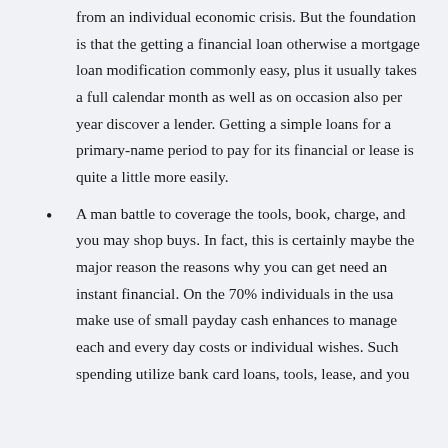from an individual economic crisis. But the foundation is that the getting a financial loan otherwise a mortgage loan modification commonly easy, plus it usually takes a full calendar month as well as on occasion also per year discover a lender. Getting a simple loans for a primary-name period to pay for its financial or lease is quite a little more easily.
A man battle to coverage the tools, book, charge, and you may shop buys. In fact, this is certainly maybe the major reason the reasons why you can get need an instant financial. On the 70% individuals in the usa make use of small payday cash enhances to manage each and every day costs or individual wishes. Such spending utilize bank card loans, tools, lease, and you